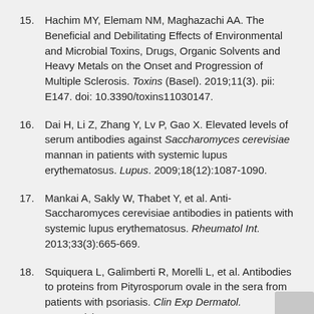15. Hachim MY, Elemam NM, Maghazachi AA. The Beneficial and Debilitating Effects of Environmental and Microbial Toxins, Drugs, Organic Solvents and Heavy Metals on the Onset and Progression of Multiple Sclerosis. Toxins (Basel). 2019;11(3). pii: E147. doi: 10.3390/toxins11030147.
16. Dai H, Li Z, Zhang Y, Lv P, Gao X. Elevated levels of serum antibodies against Saccharomyces cerevisiae mannan in patients with systemic lupus erythematosus. Lupus. 2009;18(12):1087-1090.
17. Mankai A, Sakly W, Thabet Y, et al. Anti-Saccharomyces cerevisiae antibodies in patients with systemic lupus erythematosus. Rheumatol Int. 2013;33(3):665-669.
18. Squiquera L, Galimberti R, Morelli L, et al. Antibodies to proteins from Pityrosporum ovale in the sera from patients with psoriasis. Clin Exp Dermatol. 1994;19(4):289-293.
19. Liang Y, Wen H, Xiao R. Serum levels of antibodies for IgG, IgA, and IgM against the fungi antigen in psoriasis